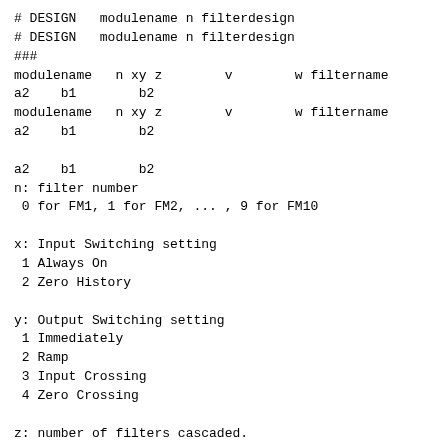# DESIGN   modulename n filterdesign
# DESIGN   modulename n filterdesign
###
modulename   n xy z        v        w filtername
a2    b1        b2
modulename   n xy z        v        w filtername
a2    b1        b2

a2    b1        b2
n: filter number
 0 for FM1, 1 for FM2, ... , 9 for FM10

x: Input Switching setting
 1 Always On
 2 Zero History

y: Output Switching setting
 1 Immediately
 2 Ramp
 3 Input Crossing
 4 Zero Crossing

z: number of filters cascaded.

v: if y=2, (Ramp Time(sec))*(samplingrate)
    if y=3 or 4, Tolerance

w: (Timeout(sec))*(samplingrate)

 Note that v and w are changed when sampling rate is ch